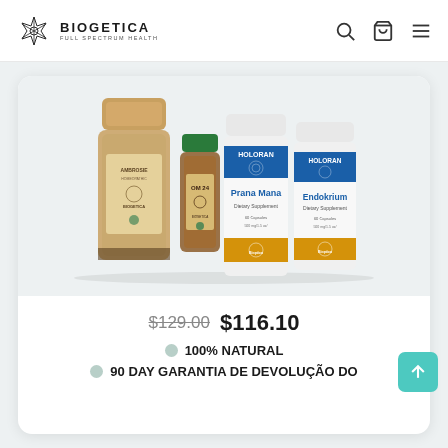BIOGETICA FULL SPECTRUM HEALTH
[Figure (photo): Four Biogetica supplement products: a large bottle with bamboo cap (Ambrosie), a small amber bottle (OM 24), and two white Holoran bottles (Prana Mana and Endokrium dietary supplements)]
$129.00 $116.10
100% NATURAL
90 DAY GARANTIA DE DEVOLUÇÃO DO